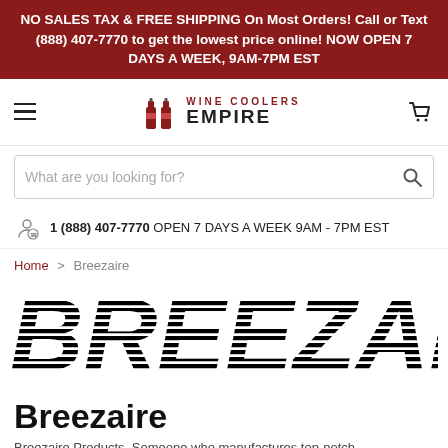NO SALES TAX & FREE SHIPPING On Most Orders! Call or Text (888) 407-7770 to get the lowest price online! NOW OPEN 7 DAYS A WEEK, 9AM-7PM EST
[Figure (logo): Wine Coolers Empire logo with two wine bottle icons and text 'WINE COOLERS EMPIRE']
What are you looking for?
1 (888) 407-7770 OPEN 7 DAYS A WEEK 9AM - 7PM EST
Home > Breezaire
[Figure (logo): Large BREEZAIRE brand logo with horizontal stripe cutout effect on bold black letters]
Breezaire
Breezaire Products. Someone who manufactures top-notch...